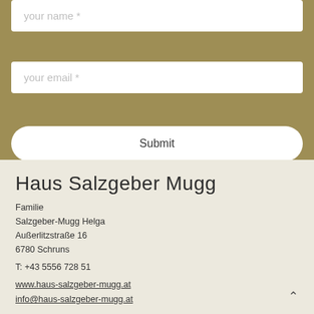your name *
your email *
Submit
Haus Salzgeber Mugg
Familie
Salzgeber-Mugg Helga
Außerlitzstraße 16
6780 Schruns
T: +43 5556 728 51
www.haus-salzgeber-mugg.at
info@haus-salzgeber-mugg.at